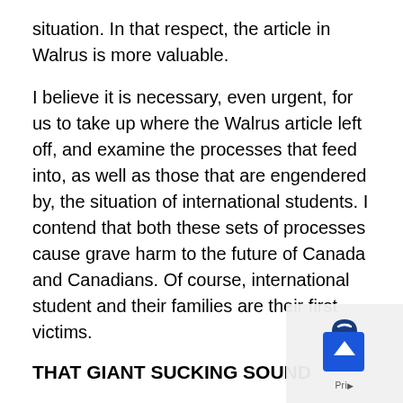situation. In that respect, the article in Walrus is more valuable.
I believe it is necessary, even urgent, for us to take up where the Walrus article left off, and examine the processes that feed into, as well as those that are engendered by, the situation of international students. I contend that both these sets of processes cause grave harm to the future of Canada and Canadians. Of course, international student and their families are their first victims.
THAT GIANT SUCKING SOUND
Let us begin right at the start of the process, viz. the place where a prospective international...